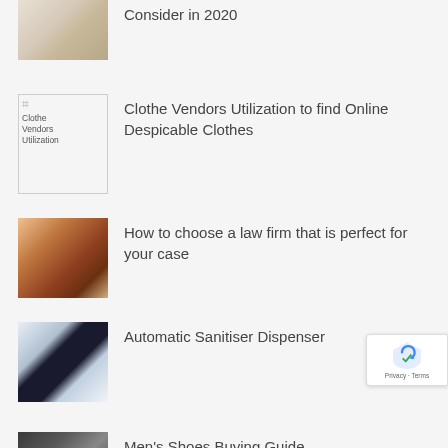[Figure (photo): Kitchen countertop image (partially visible at top)]
Consider in 2020
[Figure (illustration): Broken image placeholder for Clothe Vendors Utilization]
Clothe Vendors Utilization to find Online Despicable Clothes
[Figure (photo): Law gavel and person writing, law firm concept]
How to choose a law firm that is perfect for your case
[Figure (photo): Automatic sanitiser dispenser with hand underneath]
Automatic Sanitiser Dispenser
[Figure (photo): Men's shoes partial image at bottom]
Men's Shoes Buying Guide